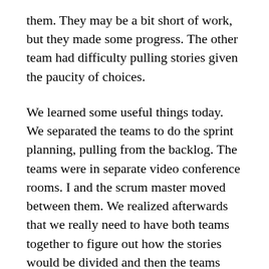them. They may be a bit short of work, but they made some progress. The other team had difficulty pulling stories given the paucity of choices.
We learned some useful things today. We separated the teams to do the sprint planning, pulling from the backlog. The teams were in separate video conference rooms. I and the scrum master moved between them. We realized afterwards that we really need to have both teams together to figure out how the stories would be divided and then the teams should have separated to create their tasks and do their estimations. I was also too eager to jump into the poker session itself, Â and I